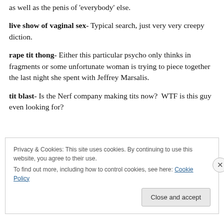as well as the penis of 'everybody' else.
live show of vaginal sex- Typical search, just very very creepy diction.
rape tit thong- Either this particular psycho only thinks in fragments or some unfortunate woman is trying to piece together the last night she spent with Jeffrey Marsalis.
tit blast- Is the Nerf company making tits now? WTF is this guy even looking for?
Privacy & Cookies: This site uses cookies. By continuing to use this website, you agree to their use.
To find out more, including how to control cookies, see here: Cookie Policy